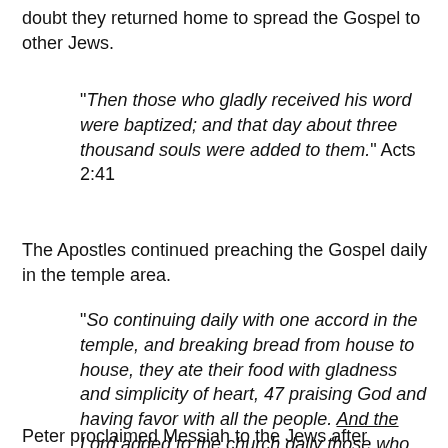doubt they returned home to spread the Gospel to other Jews.
“Then those who gladly received his word were baptized; and that day about three thousand souls were added to them.” Acts 2:41
The Apostles continued preaching the Gospel daily in the temple area.
“So continuing daily with one accord in the temple, and breaking bread from house to house, they ate their food with gladness and simplicity of heart, 47 praising God and having favor with all the people. And the Lord added to the church daily those who were being saved” Acts 2:46-47
Peter proclaimed Messiah to the Jews after